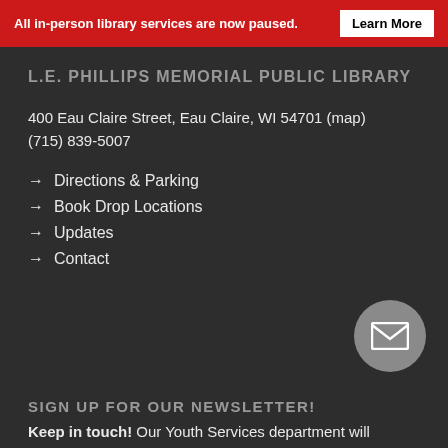All in-person library services are now paused. Learn More
L.E. PHILLIPS MEMORIAL PUBLIC LIBRARY
400 Eau Claire Street, Eau Claire, WI 54701 (map)
(715) 839-5007
→ Directions & Parking
→ Book Drop Locations
→ Updates
→ Contact
[Figure (illustration): Grey circle with white envelope/mail icon]
SIGN UP FOR OUR NEWSLETTER!
Keep in touch! Our Youth Services department will